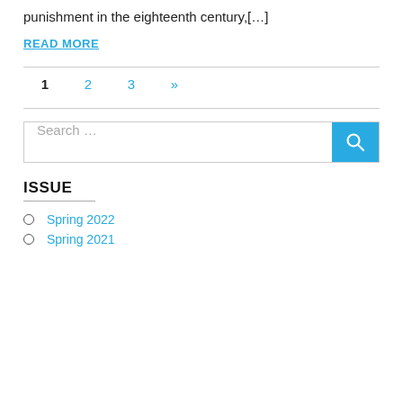punishment in the eighteenth century,[…]
READ MORE
1  2  3  »
[Figure (other): Search bar with text 'Search ...' and a blue search button with magnifying glass icon]
ISSUE
Spring 2022
Spring 2021